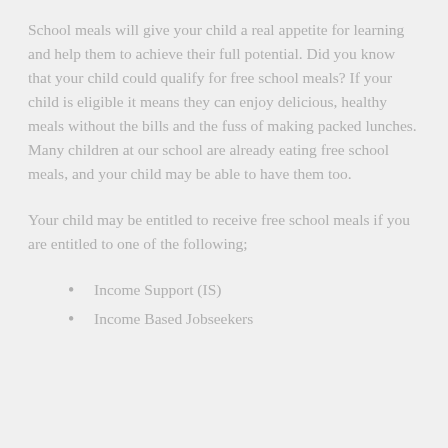School meals will give your child a real appetite for learning and help them to achieve their full potential. Did you know that your child could qualify for free school meals? If your child is eligible it means they can enjoy delicious, healthy meals without the bills and the fuss of making packed lunches. Many children at our school are already eating free school meals, and your child may be able to have them too.
Your child may be entitled to receive free school meals if you are entitled to one of the following;
Income Support (IS)
Income Based Jobseekers